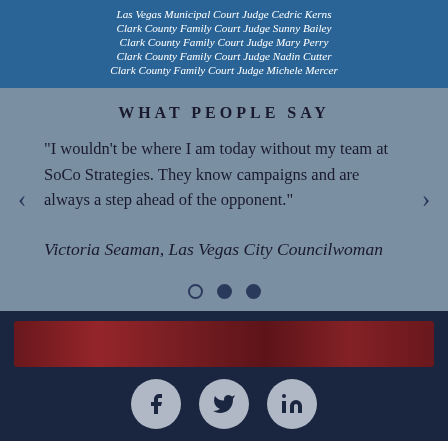Las Vegas Municipal Court Judge Cedric Kerns
Clark County Family Court Judge Sunny Bailey
Clark County Family Court Judge Mary Perry
Clark County Family Court Judge Nadin Cutter
Clark County Family Court Judge Michele Mercer
WHAT PEOPLE SAY
“I wouldn't be where I am today without my team at SoCo Strategies. They know campaigns and are always a step ahead of the opponent.”
Victoria Seaman, Las Vegas City Councilwoman
[Figure (screenshot): Blurred/redacted banner image in the footer area]
[Figure (infographic): Social media icons: Facebook, Twitter, LinkedIn in grey circles on dark navy background]